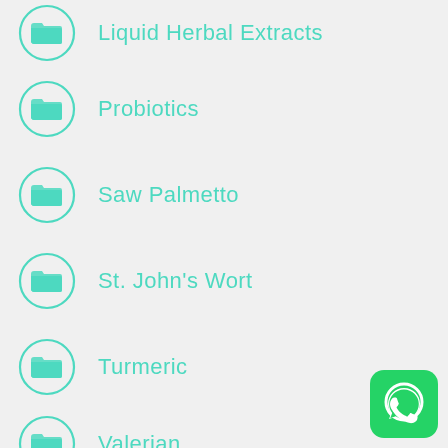Liquid Herbal Extracts
Probiotics
Saw Palmetto
St. John's Wort
Turmeric
Valerian
[Figure (logo): WhatsApp logo icon — green rounded square with white phone handset in speech bubble]